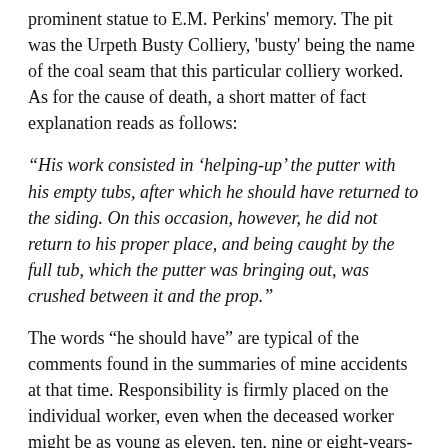prominent statue to E.M. Perkins' memory. The pit was the Urpeth Busty Colliery, 'busty' being the name of the coal seam that this particular colliery worked. As for the cause of death, a short matter of fact explanation reads as follows:
“His work consisted in ‘helping-up’ the putter with his empty tubs, after which he should have returned to the siding. On this occasion, however, he did not return to his proper place, and being caught by the full tub, which the putter was bringing out, was crushed between it and the prop.”
The words “he should have” are typical of the comments found in the summaries of mine accidents at that time. Responsibility is firmly placed on the individual worker, even when the deceased worker might be as young as eleven, ten, nine or eight-years-old but this lad was fourteen, so clearly he must be considered an adult. To the modern mind the thought occurs that this is only a boy and he should not be working here at all, but these were very different times when the risk of death in